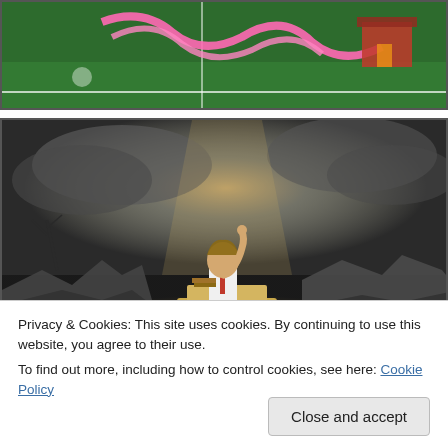[Figure (photo): Partial cropped image at top showing a green field/lawn with a pink decorative/cartoon element and what appears to be a red building in the background.]
[Figure (photo): Surreal/artistic photo of a young child sitting at a school desk with one hand raised, set against a dramatic stormy sky background with rubble and destruction around them. The image is color-graded with a golden warm light on the child contrasting with grey/desaturated ruins.]
Privacy & Cookies: This site uses cookies. By continuing to use this website, you agree to their use.
To find out more, including how to control cookies, see here: Cookie Policy
Close and accept
Lest there be any confusion, I wish to point out that